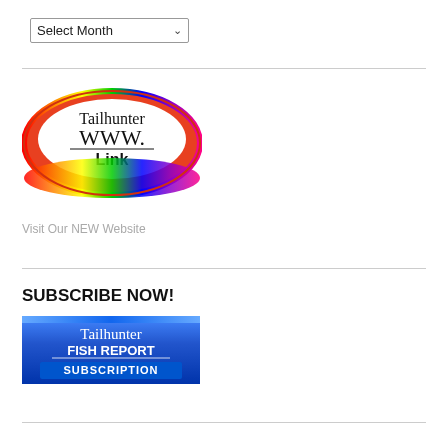Select Month
[Figure (logo): Tailhunter WWW. Link oval logo with red and rainbow gradient border]
Visit Our NEW Website
SUBSCRIBE NOW!
[Figure (logo): Tailhunter FISH REPORT SUBSCRIPTION button with blue gradient background]